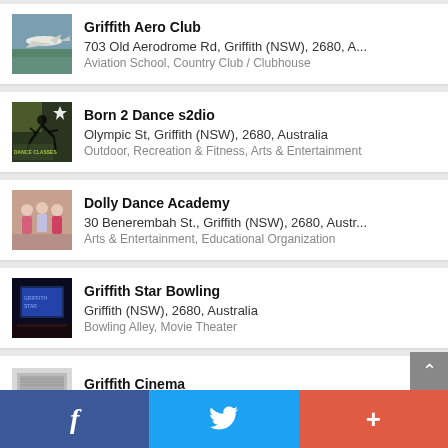[Figure (screenshot): Listing card: Griffith Aero Club with airplane photo]
Griffith Aero Club
703 Old Aerodrome Rd, Griffith (NSW), 2680, A...
Aviation School, Country Club / Clubhouse
[Figure (screenshot): Listing card: Born 2 Dance s2dio with dance studio photo]
Born 2 Dance s2dio
Olympic St, Griffith (NSW), 2680, Australia
Outdoor, Recreation & Fitness, Arts & Entertainment
[Figure (screenshot): Listing card: Dolly Dance Academy with group photo]
Dolly Dance Academy
30 Benerembah St., Griffith (NSW), 2680, Austr...
Arts & Entertainment, Educational Organization
[Figure (screenshot): Listing card: Griffith Star Bowling with bowling alley photo]
Griffith Star Bowling
Griffith (NSW), 2680, Australia
Bowling Alley, Movie Theater
[Figure (screenshot): Partial listing card: Griffith Cinema]
Griffith Cinema